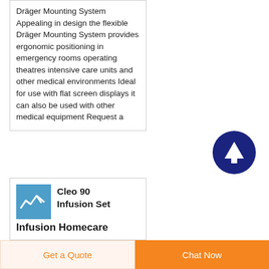Dräger Mounting System Appealing in design the flexible Dräger Mounting System provides ergonomic positioning in emergency rooms operating theatres intensive care units and other medical environments Ideal for use with flat screen displays it can also be used with other medical equipment Request a
[Figure (illustration): Dark navy blue circular button with white upward arrow icon]
[Figure (illustration): Small blue square product thumbnail with white waveform/checkmark graphic]
Cleo 90 Infusion Set
Infusion Homecare
Get a Quote
Chat Now